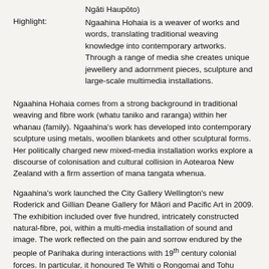Ngāti Haupōto)
Highlight: Ngaahina Hohaia is a weaver of works and words, translating traditional weaving knowledge into contemporary artworks. Through a range of media she creates unique jewellery and adornment pieces, sculpture and large-scale multimedia installations.
Ngaahina Hohaia comes from a strong background in traditional weaving and fibre work (whatu taniko and raranga) within her whanau (family). Ngaahina's work has developed into contemporary sculpture using metals, woollen blankets and other sculptural forms. Her politically charged new mixed-media installation works explore a discourse of colonisation and cultural collision in Aotearoa New Zealand with a firm assertion of mana tangata whenua.
Ngaahina's work launched the City Gallery Wellington's new Roderick and Gillian Deane Gallery for Māori and Pacific Art in 2009. The exhibition included over five hundred, intricately constructed natural-fibre, poi, within a multi-media installation of sound and image. The work reflected on the pain and sorrow endured by the people of Parihaka during interactions with 19th century colonial forces. In particular, it honoured Te Whiti o Rongomai and Tohu Kākahi's vision to build a relationship between Māori and Pakeha based on respect and peace.